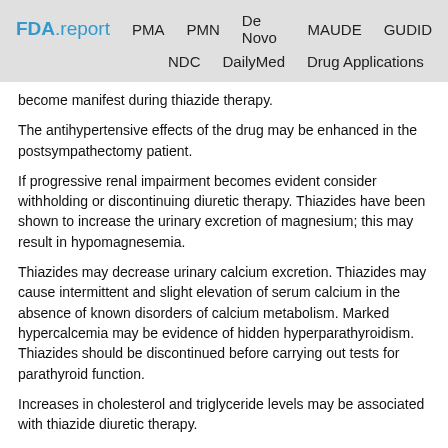FDA.report  PMA  PMN  De Novo  MAUDE  GUDID  NDC  DailyMed  Drug Applications
become manifest during thiazide therapy.
The antihypertensive effects of the drug may be enhanced in the postsympathectomy patient.
If progressive renal impairment becomes evident consider withholding or discontinuing diuretic therapy. Thiazides have been shown to increase the urinary excretion of magnesium; this may result in hypomagnesemia.
Thiazides may decrease urinary calcium excretion. Thiazides may cause intermittent and slight elevation of serum calcium in the absence of known disorders of calcium metabolism. Marked hypercalcemia may be evidence of hidden hyperparathyroidism. Thiazides should be discontinued before carrying out tests for parathyroid function.
Increases in cholesterol and triglyceride levels may be associated with thiazide diuretic therapy.